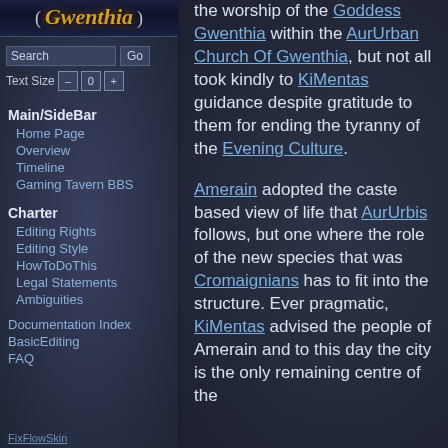[Figure (logo): Gwenthia wiki logo with decorative brackets and stylized golden italic text]
Search  Go
Text Size – 0 +
Main/SideBar
Home Page
Overview
Timeline
Gaming Tavern BBS
Charter
Editing Rights
Editing Style
HowToDoThis
Legal Statements
Ambiguities
Documentation Index
BasicEditing
FAQ
FixFlowSkin
the worship of the Goddess Gwenthia within the AurUrban Church Of Gwenthia, but not all took kindly to KiMentas guidance despite gratitude to them for ending the tyranny of the Evening Culture.
Amerain adopted the caste based view of life that AurUrbis follows, but one where the role of the new species that was Cromaignians has to fit into the structure. Ever pragmatic, KiMentas advised the people of Amerain and to this day the city is the only remaining centre of the